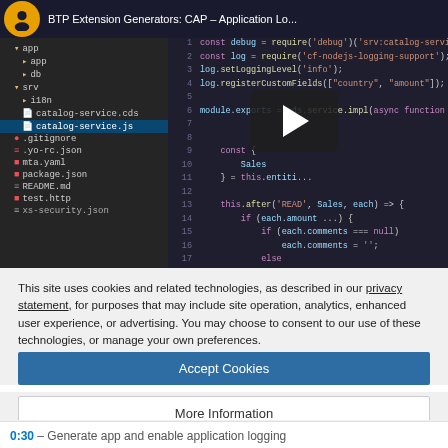[Figure (screenshot): Screenshot of a YouTube video tutorial titled 'BTP Extension Generators: CAP - Application Lo...' showing a VS Code editor with a file tree on the left (app, db, srv folders with catalog-service.js selected) and JavaScript code on the right. A video play button overlay is visible in the center-right area.]
This site uses cookies and related technologies, as described in our privacy statement, for purposes that may include site operation, analytics, enhanced user experience, or advertising. You may choose to consent to our use of these technologies, or manage your own preferences.
Accept Cookies
More Information
Privacy Policy | Powered by: TrustArc
0:30 – Generate app and enable application logging